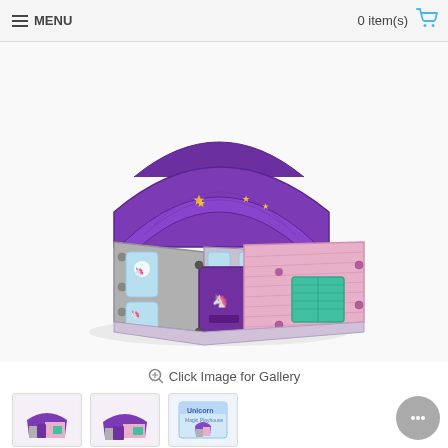≡ MENU    0 item(s) 🛒
[Figure (photo): A children's plastic playhouse with purple roof featuring gold stars, pink corrugated walls, a purple front door with a white unicorn design, teal/mint shuttered window on the right side, grey frame with decorative unicorn and rainbow sticker panels on windows.]
🔍 Click Image for Gallery
[Figure (photo): Three product thumbnail images: left showing the playhouse from front-left angle (purple/pink), center showing the playhouse from front-right angle, and right showing the product box packaging with colorful unicorn branding.]